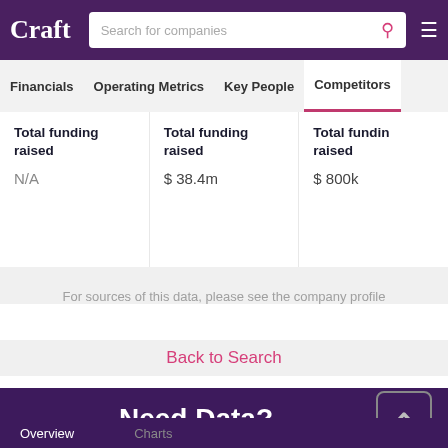Craft — Search for companies
Financials | Operating Metrics | Key People | Competitors
|  |  |  |
| --- | --- | --- |
| Total funding raised | Total funding raised | Total funding raised |
| N/A | $ 38.4m | $ 800k |
For sources of this data, please see the company profile
Back to Search
Need Data?
Overview    Charts